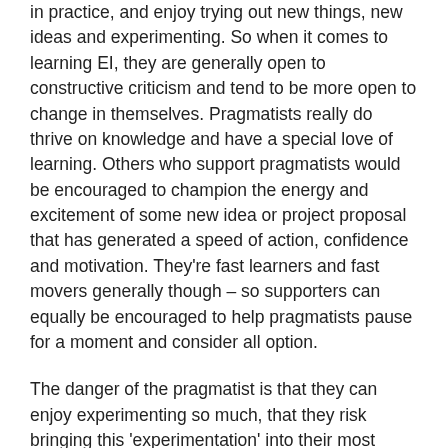in practice, and enjoy trying out new things, new ideas and experimenting. So when it comes to learning EI, they are generally open to constructive criticism and tend to be more open to change in themselves. Pragmatists really do thrive on knowledge and have a special love of learning. Others who support pragmatists would be encouraged to champion the energy and excitement of some new idea or project proposal that has generated a speed of action, confidence and motivation. They're fast learners and fast movers generally though – so supporters can equally be encouraged to help pragmatists pause for a moment and consider all option.
The danger of the pragmatist is that they can enjoy experimenting so much, that they risk bringing this 'experimentation' into their most valuable and important relationships, doing some serious damage along the way. In order to progress and develop themselves, pragmatists might be willing to, or adopt an attitude of, using or ignoring the other person to achieve this. The warning signs of this are when the subjective reality (the feelings and experience) of the other person is no longer of concern to the pragmatist. This is when the pragmatist has the most amount of learning and self-reflection to do! Having said that, they are real natural problem-solvers, and an emotionally developed